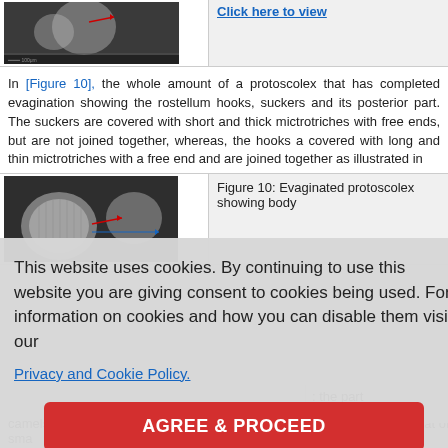[Figure (photo): SEM image of protoscolex, top image row thumbnail]
Click here to view
In [Figure 10], the whole amount of a protoscolex that has completed evagination showing the rostellum hooks, suckers and its posterior part. The suckers are covered with short and thick mictrotriches with free ends, but are not joined together, whereas, the hooks are covered with long and thin mictrotriches with a free end and are joined together as illustrated in
[Figure (photo): SEM image of evaginated protoscolex showing rostellum and body, Figure 10]
Figure 10: Evaginated protoscolex showing body
the part suckers (n
This website uses cookies. By continuing to use this website you are giving consent to cookies being used. For information on cookies and how you can disable them visit our
Privacy and Cookie Policy.
AGREE & PROCEED
d small hooks camels. The average of total length of the large hooks was 30 μm and that of sma